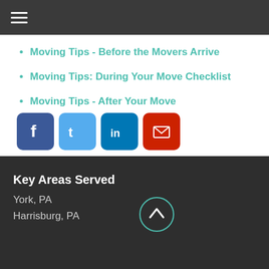Navigation menu icon
Moving Tips - Before the Movers Arrive
Moving Tips: During Your Move Checklist
Moving Tips - After Your Move
[Figure (infographic): Social media share buttons: Facebook (blue), Twitter (light blue), LinkedIn (dark blue), Email (red)]
Key Areas Served
York, PA
Harrisburg, PA